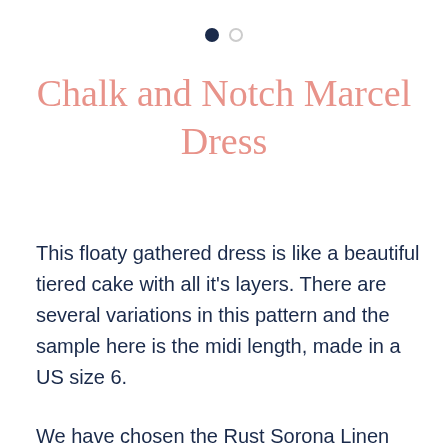[Figure (other): Pagination dots: one filled dark navy dot and one empty/outline dot]
Chalk and Notch Marcel Dress
This floaty gathered dress is like a beautiful tiered cake with all it's layers. There are several variations in this pattern and the sample here is the midi length, made in a US size 6.
We have chosen the Rust Sorona Linen fabric, which pairs nicely with the fullness of this style.